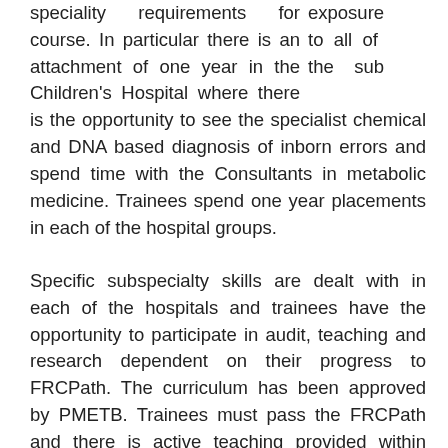exposure to all of the sub speciality requirements for course. In particular there is an attachment of one year in the Children's Hospital where there is the opportunity to see the specialist chemical and DNA based diagnosis of inborn errors and spend time with the Consultants in metabolic medicine. Trainees spend one year placements in each of the hospital groups.
Specific subspecialty skills are dealt with in each of the hospitals and trainees have the opportunity to participate in audit, teaching and research dependent on their progress to FRCPath. The curriculum has been approved by PMETB. Trainees must pass the FRCPath and there is active teaching provided within each of the hospitals in which the trainees are based. An M.Sc. course in Clinical